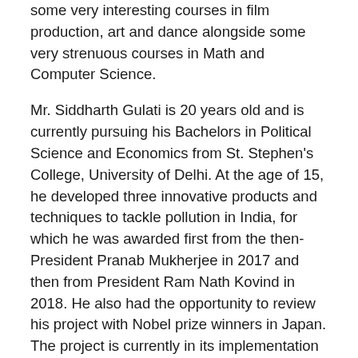some very interesting courses in film production, art and dance alongside some very strenuous courses in Math and Computer Science.
Mr. Siddharth Gulati is 20 years old and is currently pursuing his Bachelors in Political Science and Economics from St. Stephen's College, University of Delhi. At the age of 15, he developed three innovative products and techniques to tackle pollution in India, for which he was awarded first from the then-President Pranab Mukherjee in 2017 and then from President Ram Nath Kovind in 2018. He also had the opportunity to review his project with Nobel prize winners in Japan. The project is currently in its implementation stage. Apart from public policy and administration, He also has a profound interest in science and entrepreneurship. He has done internships with Atal Innovation Mission- Niti Aayog, Invest India and Business Innovation department of HPCL.
The comperes, Vinayak Dhawan and Lavanya Bhargava, enthusiastically welcomed the audience, and presented virtual tokens of gratitude to all the Guest Speakers. The Guest Speakers then shared a few words on their journey from being illustrious students of the school, to being contributing members of society. They highlighted how Delhi Public School, R.K. Puram helped mould the people they are